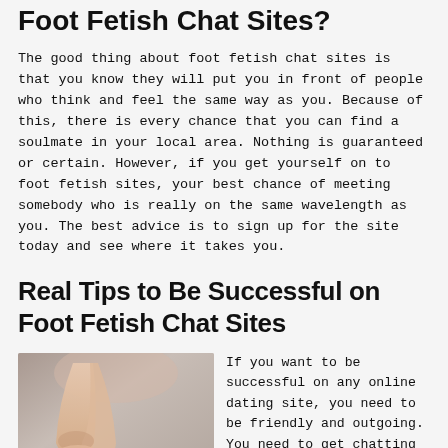Foot Fetish Chat Sites?
The good thing about foot fetish chat sites is that you know they will put you in front of people who think and feel the same way as you. Because of this, there is every chance that you can find a soulmate in your local area. Nothing is guaranteed or certain. However, if you get yourself on to foot fetish sites, your best chance of meeting somebody who is really on the same wavelength as you. The best advice is to sign up for the site today and see where it takes you.
Real Tips to Be Successful on Foot Fetish Chat Sites
[Figure (photo): Photo of a person's bare legs and feet, sitting with legs folded, hands resting on knees, against a grey background.]
If you want to be successful on any online dating site, you need to be friendly and outgoing. You need to get chatting with